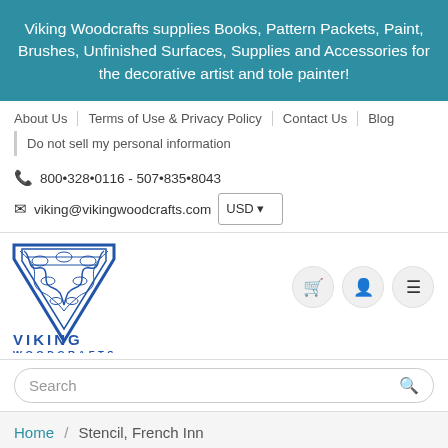Viking Woodcrafts supplies Books, Pattern Packets, Paint, Brushes, Unfinished Surfaces, Supplies and Accessories for the decorative artist and tole painter!
About Us | Terms of Use & Privacy Policy | Contact Us | Blog
Do not sell my personal information
800•328•0116 - 507•835•8043
viking@vikingwoodcrafts.com | USD
[Figure (logo): Viking Woodcrafts logo — a blue ornate V shape with Celtic knotwork design, and text VIKING WOODCRAFTS below]
Search
Home / Stencil, French Inn